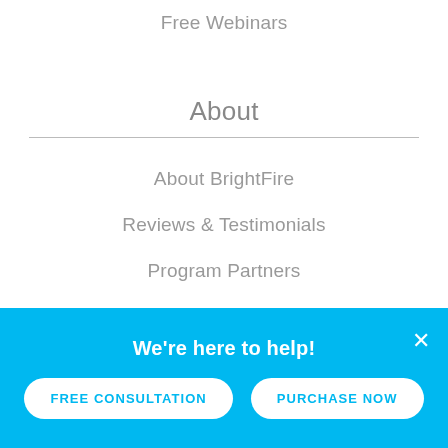Free Webinars
About
About BrightFire
Reviews & Testimonials
Program Partners
The BrightFire Difference
Careers
Blog
We're here to help! FREE CONSULTATION PURCHASE NOW